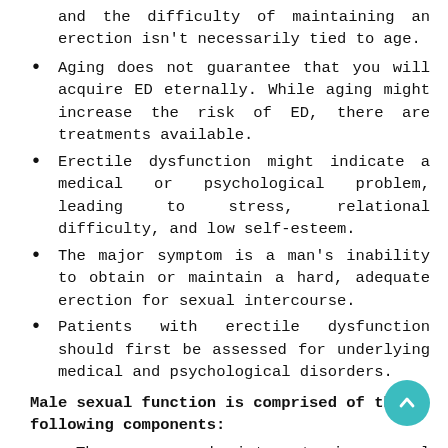and the difficulty of maintaining an erection isn't necessarily tied to age.
Aging does not guarantee that you will acquire ED eternally. While aging might increase the risk of ED, there are treatments available.
Erectile dysfunction might indicate a medical or psychological problem, leading to stress, relational difficulty, and low self-esteem.
The major symptom is a man's inability to obtain or maintain a hard, adequate erection for sexual intercourse.
Patients with erectile dysfunction should first be assessed for underlying medical and psychological disorders.
Male sexual function is comprised of the following components:
The urge and interest in sexual activities (libido).
The capacity to get and keep an erection.
The capacity to climax and ejaculate (orgasm).